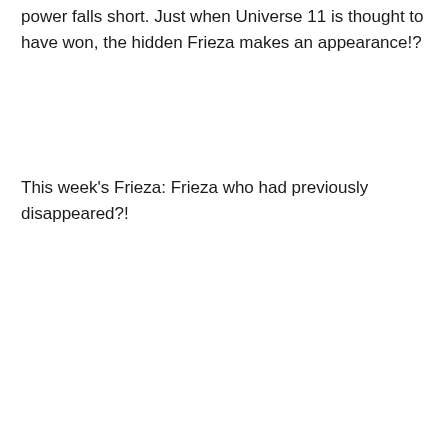power falls short. Just when Universe 11 is thought to have won, the hidden Frieza makes an appearance!?
This week's Frieza: Frieza who had previously disappeared?!